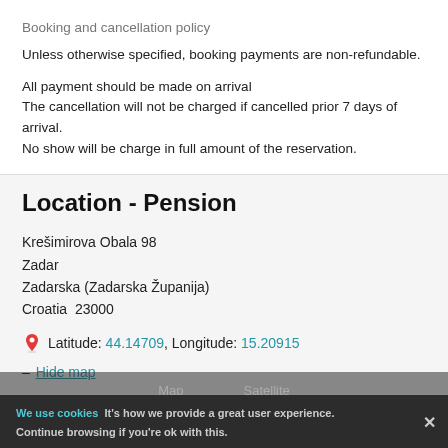Booking and cancellation policy
Unless otherwise specified, booking payments are non-refundable.
All payment should be made on arrival
The cancellation will not be charged if cancelled prior 7 days of arrival.
No show will be charge in full amount of the reservation.
Location - Pension
Krešimirova Obala 98
Zadar
Zadarska (Zadarska Županija)
Croatia  23000
Latitude: 44.14709, Longitude: 15.20915
– Hide map
We use cookies  It's how we provide a great user experience. Continue browsing if you're ok with this.